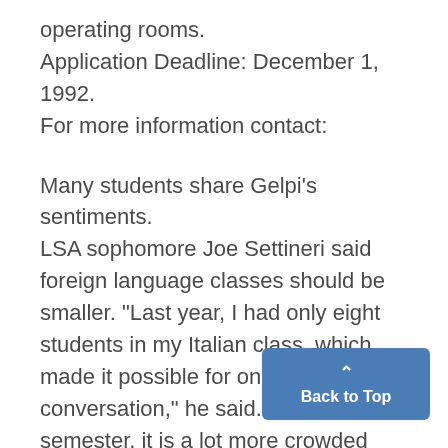operating rooms.
Application Deadline: December 1, 1992.
For more information contact:
Many students share Gelpi's sentiments.
LSA sophomore Joe Settineri said foreign language classes should be smaller. "Last year, I had only eight students in my Italian class, which made it possible for one-on-one conversation," he said. "This semester, it is a lot more crowded and I can tell the difference."